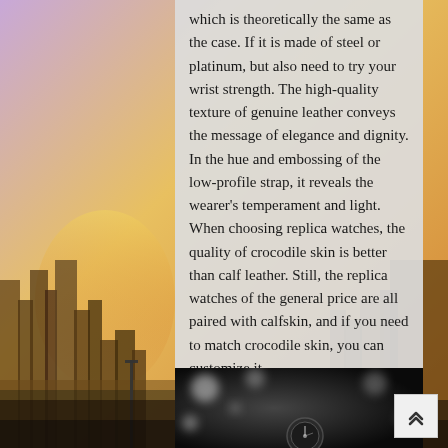[Figure (photo): City skyline background with warm golden/purple sunset tones behind buildings]
which is theoretically the same as the case. If it is made of steel or platinum, but also need to try your wrist strength. The high-quality texture of genuine leather conveys the message of elegance and dignity. In the hue and embossing of the low-profile strap, it reveals the wearer's temperament and light. When choosing replica watches, the quality of crocodile skin is better than calf leather. Still, the replica watches of the general price are all paired with calfskin, and if you need to match crocodile skin, you can customize it.
[Figure (photo): Close-up black and white photo of a watch with bokeh background]